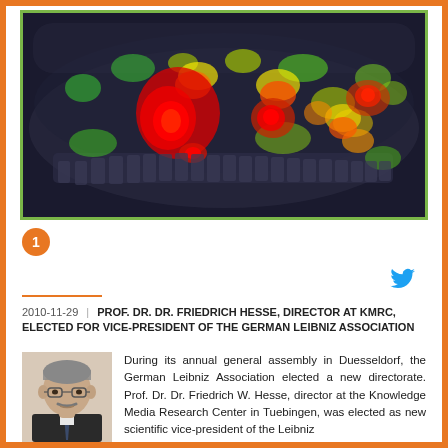[Figure (other): Panoramic dental X-ray with heat map overlay showing areas of interest highlighted in red, yellow, and green colors on a dark background]
1
2010-11-29 | PROF. DR. DR. FRIEDRICH HESSE, DIRECTOR AT KMRC, ELECTED FOR VICE-PRESIDENT OF THE GERMAN LEIBNIZ ASSOCIATION
[Figure (photo): Portrait photo of Prof. Dr. Dr. Friedrich W. Hesse, an older man with glasses and a mustache wearing a dark suit]
During its annual general assembly in Duesseldorf, the German Leibniz Association elected a new directorate. Prof. Dr. Dr. Friedrich W. Hesse, director at the Knowledge Media Research Center in Tuebingen, was elected as new scientific vice-president of the Leibniz